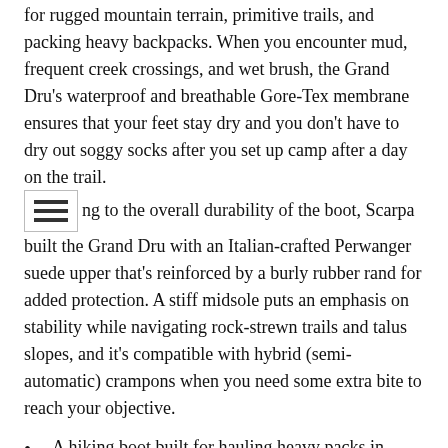for rugged mountain terrain, primitive trails, and packing heavy backpacks. When you encounter mud, frequent creek crossings, and wet brush, the Grand Dru's waterproof and breathable Gore-Tex membrane ensures that your feet stay dry and you don't have to dry out soggy socks after you set up camp after a day on the trail.
ng to the overall durability of the boot, Scarpa built the Grand Dru with an Italian-crafted Perwanger suede upper that's reinforced by a burly rubber rand for added protection. A stiff midsole puts an emphasis on stability while navigating rock-strewn trails and talus slopes, and it's compatible with hybrid (semi-automatic) crampons when you need some extra bite to reach your objective.
A hiking boot built for hauling heavy packs in rugged terrain
Waterproof and breathable Gore-Tex Performance Comfort membrane
Siliconized Perwanger suede upper with protective rand
High cuff with flex cuff provides crucial ankle support
Stiff PU and TPU midsole with Pro-Fiber XT 20 insole
Aggressive Vibram sole optimized for primitive mountain trails